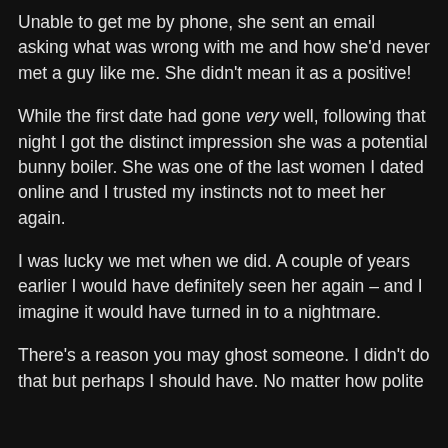Unable to get me by phone, she sent an email asking what was wrong with me and how she'd never met a guy like me. She didn't mean it as a positive!
While the first date had gone very well, following that night I got the distinct impression she was a potential bunny boiler. She was one of the last women I dated online and I trusted my instincts not to meet her again.
I was lucky we met when we did. A couple of years earlier I would have definitely seen her again – and I imagine it would have turned in to a nightmare.
There's a reason you may ghost someone. I didn't do that but perhaps I should have. No matter how polite